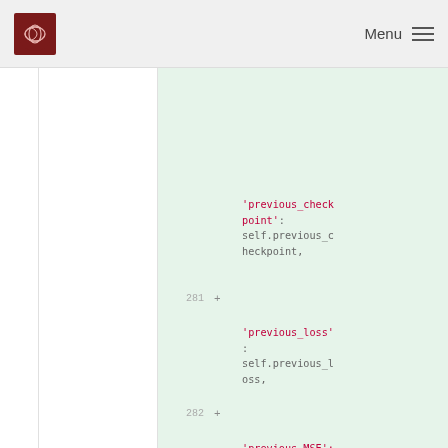Menu
[Figure (screenshot): Code diff viewer showing Python dictionary entries being added. Lines 281 and 282 show additions of 'previous_checkpoint': self.previous_checkpoint, and 'previous_loss': self.previous_loss, with a partial view of 'previous_MSE': at the bottom. Line numbers and plus signs appear in green-tinted columns.]